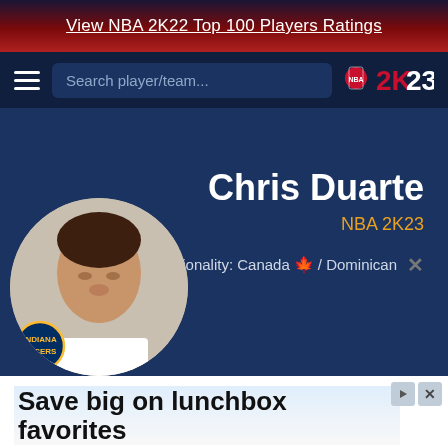View NBA 2K22 Top 100 Players Ratings
[Figure (screenshot): NBA 2K23 website navigation bar with hamburger menu, search box, and 2K23 logo]
Chris Duarte
NBA 2K23
Nationality: Canada 🍁 / Dominican
[Figure (photo): Chris Duarte headshot photo in circular frame with Indiana Pacers team badge]
Save big on lunchbox favorites
Save time & money with these quick & tasty lunch picks from our brands
Walmart  Open